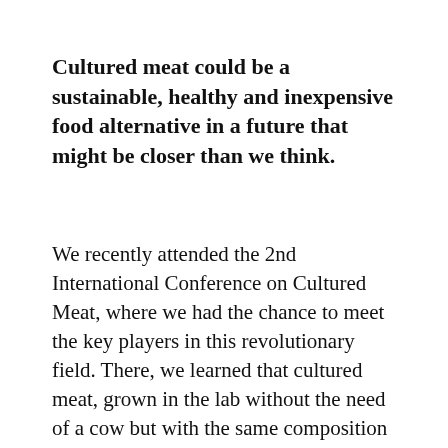Cultured meat could be a sustainable, healthy and inexpensive food alternative in a future that might be closer than we think.
We recently attended the 2nd International Conference on Cultured Meat, where we had the chance to meet the key players in this revolutionary field. There, we learned that cultured meat, grown in the lab without the need of a cow but with the same composition as regular meat, can significantly reduce water, land and antibiotic use, as well as decrease greenhouse emissions.